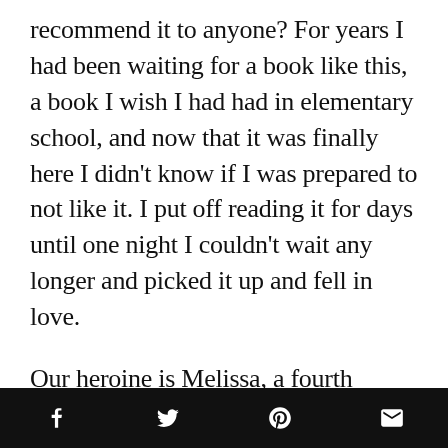recommend it to anyone? For years I had been waiting for a book like this, a book I wish I had had in elementary school, and now that it was finally here I didn't know if I was prepared to not like it. I put off reading it for days until one night I couldn't wait any longer and picked it up and fell in love.
Our heroine is Melissa, a fourth grader who likes playing video games, goofing around with her best friend, and going to Arnie's All-You-Can-Eat-Buffet with her mom and brother. She's a sweet and likable character trying find the solution to two big problems: how to get cast as Charlotte in her school's production of Charlotte's Web and how to
[social share icons: Facebook, Twitter, Pinterest, Email]